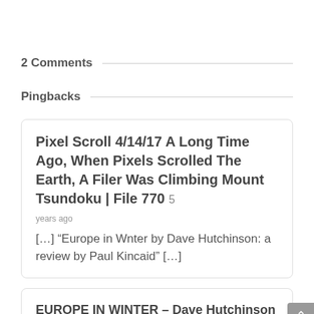2 Comments
Pingbacks
Pixel Scroll 4/14/17 A Long Time Ago, When Pixels Scrolled The Earth, A Filer Was Climbing Mount Tsundoku | File 770  5 years ago
[…] “Europe in Wnter by Dave Hutchinson: a review by Paul Kincaid” […]
EUROPE IN WINTER – Dave Hutchinson